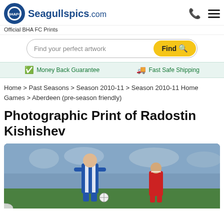Seagullspics.com — Official BHA FC Prints
Find your perfect artwork
Money Back Guarantee   Fast Safe Shipping
Home > Past Seasons > Season 2010-11 > Season 2010-11 Home Games > Aberdeen (pre-season friendly)
Photographic Print of Radostin Kishishev
[Figure (photo): Football action photo showing a Brighton player in blue and white striped kit controlling ball, with an Aberdeen player in red kit in background, crowd visible behind]